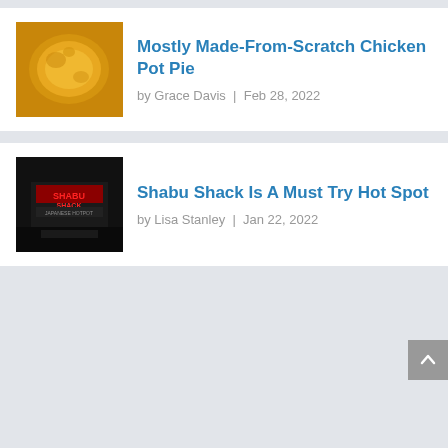Mostly Made-From-Scratch Chicken Pot Pie
by Grace Davis | Feb 28, 2022
Shabu Shack Is A Must Try Hot Spot
by Lisa Stanley | Jan 22, 2022